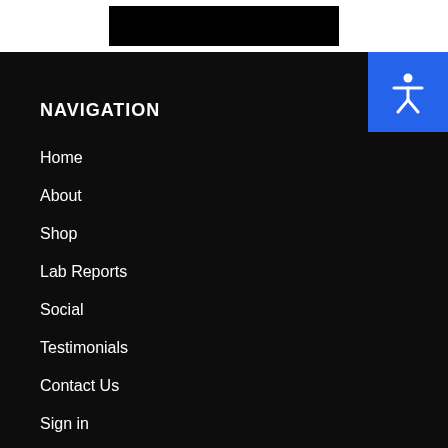[Figure (other): Black rectangular logo/banner in white header bar]
[Figure (illustration): Blue accessibility button with white stick figure person icon, top right corner]
NAVIGATION
Home
About
Shop
Lab Reports
Social
Testimonials
Contact Us
Sign in
Investors